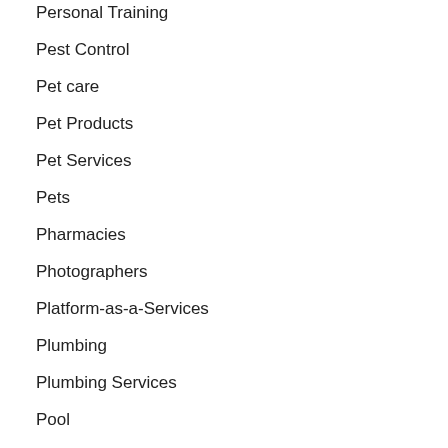Personal Training
Pest Control
Pet care
Pet Products
Pet Services
Pets
Pharmacies
Photographers
Platform-as-a-Services
Plumbing
Plumbing Services
Pool
Pool Cleaning
Pool Installation
Power Washing Service